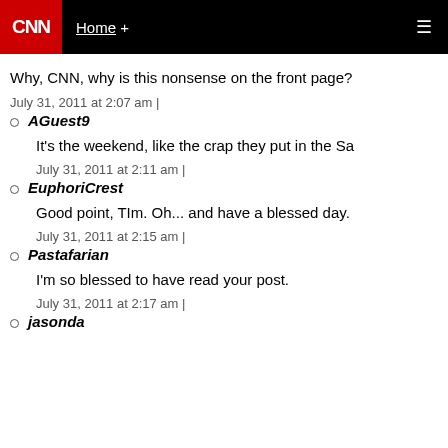CNN | Home +
Why, CNN, why is this nonsense on the front page?
July 31, 2011 at 2:07 am |
AGuest9
It's the weekend, like the crap they put in the Sa
July 31, 2011 at 2:11 am |
EuphoriCrest
Good point, TIm. Oh... and have a blessed day.
July 31, 2011 at 2:15 am |
Pastafarian
I'm so blessed to have read your post.
July 31, 2011 at 2:17 am |
jasonda